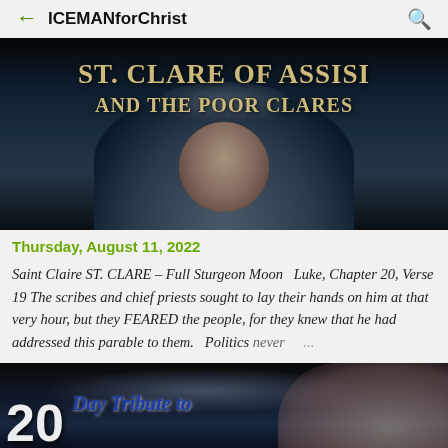ICEMANforChrist
[Figure (photo): Dark banner image with text 'St. Clare of Assisi and The Poor Clares' over a background featuring a nun's face]
Thursday, August 11, 2022
Saint Claire ST. CLARE – Full Sturgeon Moon   Luke, Chapter 20, Verse 19 The scribes and chief priests sought to lay their hands on him at that very hour, but they FEARED the people, for they knew that he had addressed this parable to them.   Politics never  ...
[Figure (photo): Partial banner image showing '20' large number and text 'Day Tribute to' with a person visible on right side]